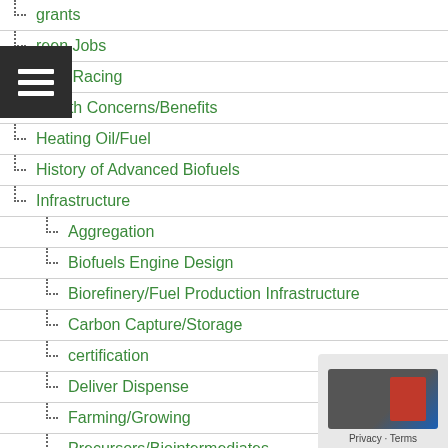grants
Green Jobs
Green Racing
Health Concerns/Benefits
Heating Oil/Fuel
History of Advanced Biofuels
Infrastructure
Aggregation
Biofuels Engine Design
Biorefinery/Fuel Production Infrastructure
Carbon Capture/Storage
certification
Deliver Dispense
Farming/Growing
Precursors/Biointermediates
Pretreatment
Terminals Transport
International
Abu Dhabi
Afghanistan
Africa
Algeria
Angola